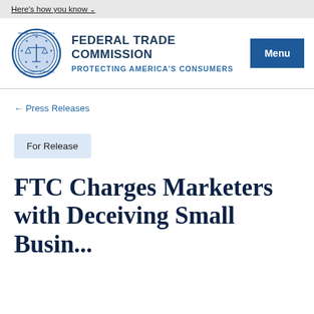Here's how you know
[Figure (logo): Federal Trade Commission official seal — circular blue and gold emblem with scales of justice]
FEDERAL TRADE COMMISSION PROTECTING AMERICA'S CONSUMERS
Menu
← Press Releases
For Release
FTC Charges Marketers with Deceiving Small Business...